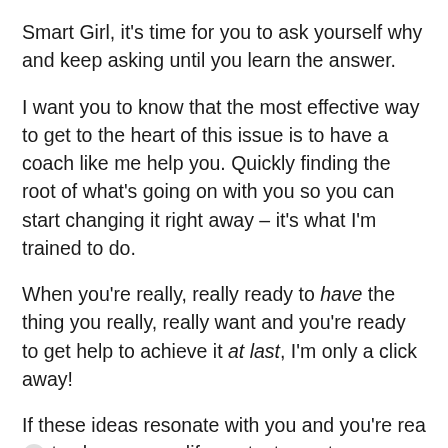Smart Girl, it's time for you to ask yourself why and keep asking until you learn the answer.
I want you to know that the most effective way to get to the heart of this issue is to have a coach like me help you. Quickly finding the root of what's going on with you so you can start changing it right away – it's what I'm trained to do.
When you're really, really ready to have the thing you really, really want and you're ready to get help to achieve it at last, I'm only a click away!
If these ideas resonate with you and you're ready to change your life contact me at info@lenaehrenberg.com and we can schedule a